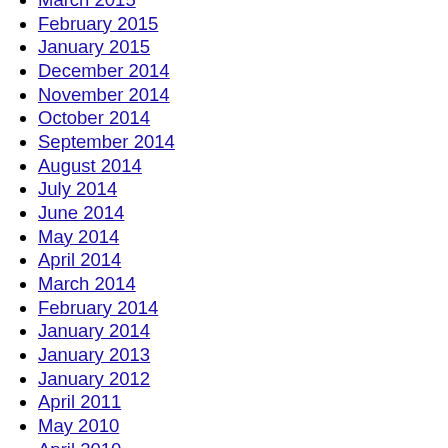March 2015
February 2015
January 2015
December 2014
November 2014
October 2014
September 2014
August 2014
July 2014
June 2014
May 2014
April 2014
March 2014
February 2014
January 2014
January 2013
January 2012
April 2011
May 2010
April 2010
June 2009
May 2009
March 2009
February 2009
January 2009